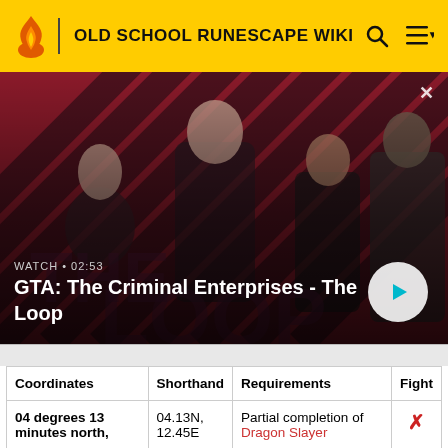OLD SCHOOL RUNESCAPE WIKI
[Figure (screenshot): GTA: The Criminal Enterprises - The Loop promotional video thumbnail showing four characters on a red diagonal stripe background, with a play button and WATCH 02:53 label]
| Coordinates | Shorthand | Requirements | Fight |
| --- | --- | --- | --- |
| 04 degrees 13 minutes north, | 04.13N, 12.45E | Partial completion of Dragon Slayer | ✗ |